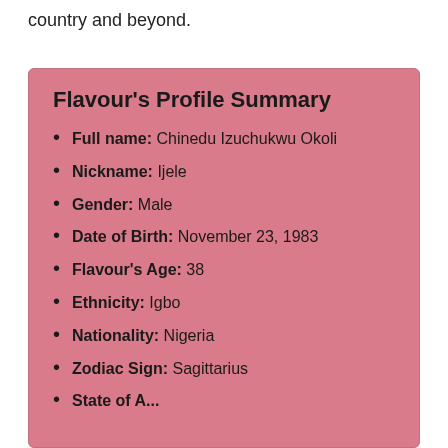country and beyond.
Flavour's Profile Summary
Full name: Chinedu Izuchukwu Okoli
Nickname: Ijele
Gender: Male
Date of Birth: November 23, 1983
Flavour's Age: 38
Ethnicity: Igbo
Nationality: Nigeria
Zodiac Sign: Sagittarius
State of A...